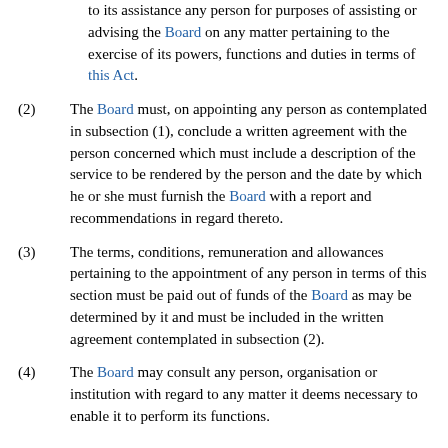to its assistance any person for purposes of assisting or advising the Board on any matter pertaining to the exercise of its powers, functions and duties in terms of this Act.
(2) The Board must, on appointing any person as contemplated in subsection (1), conclude a written agreement with the person concerned which must include a description of the service to be rendered by the person and the date by which he or she must furnish the Board with a report and recommendations in regard thereto.
(3) The terms, conditions, remuneration and allowances pertaining to the appointment of any person in terms of this section must be paid out of funds of the Board as may be determined by it and must be included in the written agreement contemplated in subsection (2).
(4) The Board may consult any person, organisation or institution with regard to any matter it deems necessary to enable it to perform its functions.